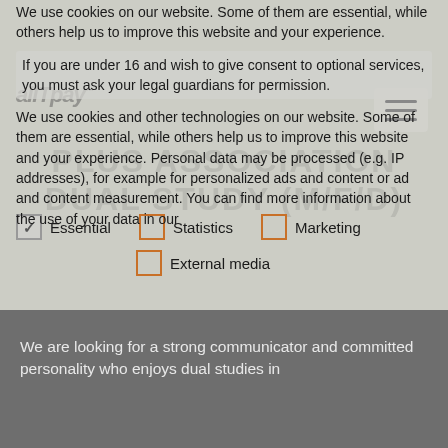We use cookies on our website. Some of them are essential, while others help us to improve this website and your experience.
If you are under 16 and wish to give consent to optional services, you must ask your legal guardians for permission.
We use cookies and other technologies on our website. Some of them are essential, while others help us to improve this website and your experience. Personal data may be processed (e.g. IP addresses), for example for personalized ads and content or ad and content measurement. You can find more information about the use of your data in our
Essential
Statistics
Marketing
External media
We are looking for a strong communicator and committed personality who enjoys dual studies in